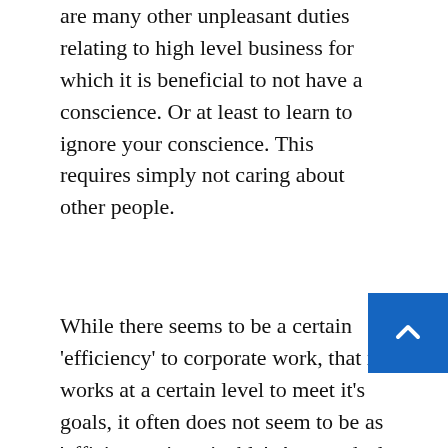are many other unpleasant duties relating to high level business for which it is beneficial to not have a conscience. Or at least to learn to ignore your conscience. This requires simply not caring about other people.
While there seems to be a certain ‘efficiency’ to corporate work, that it works at a certain level to meet it’s goals, it often does not seem to be as ‘efficient as imaginable’. A great deal of money and time gets wasted on the particular egos of micro-management, and there is a vast imbalance of power between the workhorse roles, being those who take the majority of the burden of labour, and almost entirely superfluous and unneeded roles that are constructs of Postmodern social ‘scie(like HR). Many controlling office roles are not, unnecessary, but entirely adverse to efficiency and